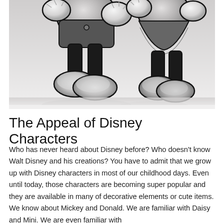[Figure (illustration): Black and white pencil/charcoal illustration showing the lower bodies (torsos and legs) of two Disney-style cartoon characters (Mickey Mouse and Minnie Mouse style), with round cartoon feet, black legs, white gloves, and shorts visible. The image is cropped to show only from approximately the waist down.]
The Appeal of Disney Characters
Who has never heard about Disney before? Who doesn't know Walt Disney and his creations? You have to admit that we grow up with Disney characters in most of our childhood days. Even until today, those characters are becoming super popular and they are available in many of decorative elements or cute items. We know about Mickey and Donald. We are familiar with Daisy and Mini. We are even familiar with